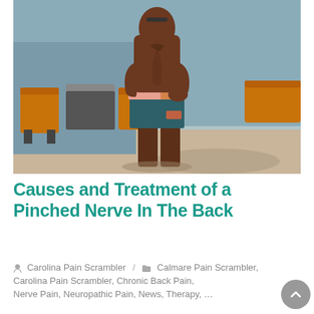[Figure (photo): A shirtless man seen from behind, wearing teal/blue swim shorts with coral/pink waistband, placing his right hand on his lower back, standing outdoors on a paved area with wooden chairs and tables in the background.]
Causes and Treatment of a Pinched Nerve In The Back
Carolina Pain Scrambler / Calmare Pain Scrambler, Carolina Pain Scrambler, Chronic Back Pain, Nerve Pain, Neuropathic Pain, News, Therapy,